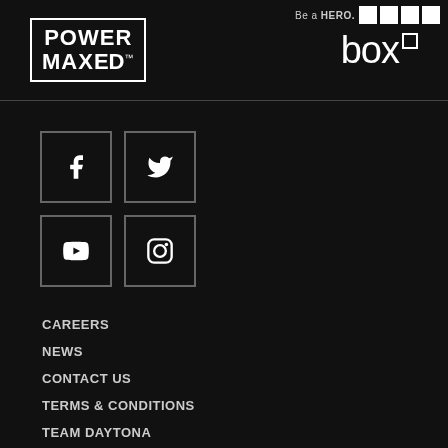[Figure (logo): Be a HERO text with four white squares]
[Figure (logo): Power Maxed logo with border and TM mark]
[Figure (logo): box. logo with small square and dot]
[Figure (illustration): Social media icons: Facebook, Twitter, YouTube, Instagram in bordered boxes]
CAREERS
NEWS
CONTACT US
TERMS & CONDITIONS
TEAM DAYTONA
HISTORY
TESTIMONIALS